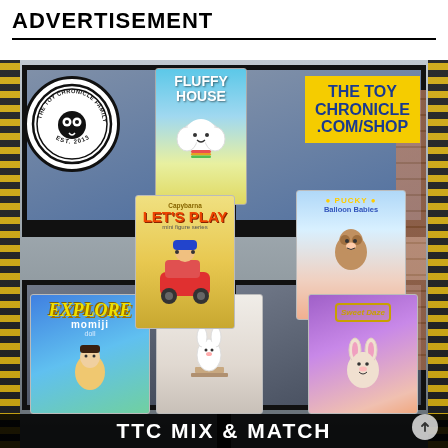ADVERTISEMENT
[Figure (photo): Advertisement photo showing toy product boxes including Fluffy House, Pucky Balloon Babies, Capybarna Lets Play, Explore Momiji, and other blind box toys arranged in front of a building with black window frames. The Toy Chronicle Family logo (circular badge, EST. 2013) is in the upper left. A yellow banner says THE TOY CHRONICLE .COM/SHOP in upper right.]
TTC MIX & MATCH